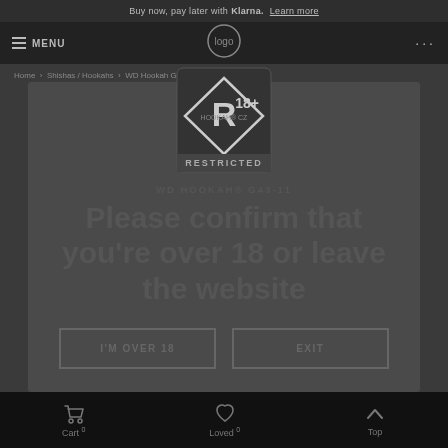Buy now, pay later with Klarna. Learn more
MENU ... (navigation bar with logo)
Home / Shishas / Hookah / WD Hookah G43-11
[Figure (infographic): Age restriction badge: R 18+ RESTRICTED symbol in a diamond/square design with dark background]
WD HOOKAH® G43-11
Please confirm that you're over 18 or leave the website
I'M OVER 18
EXIT
Cart 0  Loved 0  Top